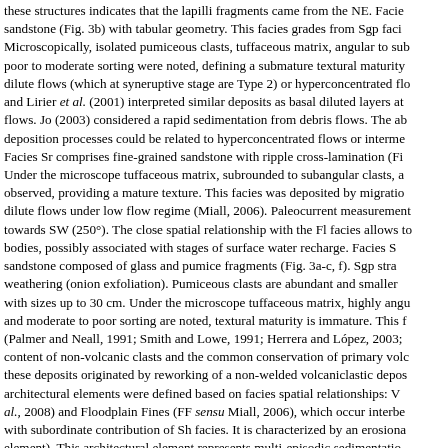these structures indicates that the lapilli fragments came from the NE. Facies sandstone (Fig. 3b) with tabular geometry. This facies grades from Sgp faci Microscopically, isolated pumiceous clasts, tuffaceous matrix, angular to sub poor to moderate sorting were noted, defining a submature textural maturity dilute flows (which at syneruptive stage are Type 2) or hyperconcentrated flo and Lirier et al. (2001) interpreted similar deposits as basal diluted layers at flows. Jo (2003) considered a rapid sedimentation from debris flows. The ab deposition processes could be related to hyperconcentrated flows or interme Facies Sr comprises fine-grained sandstone with ripple cross-lamination (Fi Under the microscope tuffaceous matrix, subrounded to subangular clasts, a observed, providing a mature texture. This facies was deposited by migratio dilute flows under low flow regime (Miall, 2006). Paleocurrent measurement towards SW (250°). The close spatial relationship with the Fl facies allows to bodies, possibly associated with stages of surface water recharge. Facies S sandstone composed of glass and pumice fragments (Fig. 3a-c, f). Sgp stra weathering (onion exfoliation). Pumiceous clasts are abundant and smaller with sizes up to 30 cm. Under the microscope tuffaceous matrix, highly angu and moderate to poor sorting are noted, textural maturity is immature. This f (Palmer and Neall, 1991; Smith and Lowe, 1991; Herrera and López, 2003; content of non-volcanic clasts and the common conservation of primary volc these deposits originated by reworking of a non-welded volcaniclastic depos architectural elements were defined based on facies spatial relationships: V al., 2008) and Floodplain Fines (FF sensu Miall, 2006), which occur interbe with subordinate contribution of Sh facies. It is characterized by an erosiona element). This architectural element represents multi-episodic sedimentatio diluted currents and originated from re-sedimentation of a non-welded volca facies. This element records alternating deposition from settling and tractio represents surface water recharge. Five depositional episodes are defined d depositional episode suggests that settling/ traction processes evolved from stream flows by dilution, either by sedimentation or water addition. The resu